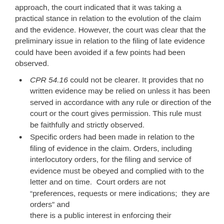approach, the court indicated that it was taking a practical stance in relation to the evolution of the claim and the evidence. However, the court was clear that the preliminary issue in relation to the filing of late evidence could have been avoided if a few points had been observed.
CPR 54.16 could not be clearer. It provides that no written evidence may be relied on unless it has been served in accordance with any rule or direction of the court or the court gives permission. This rule must be faithfully and strictly observed.
Specific orders had been made in relation to the filing of evidence in the claim. Orders, including interlocutory orders, for the filing and service of evidence must be obeyed and complied with to the letter and on time. Court orders are not “preferences, requests or mere indications; they are orders” and there is a public interest in enforcing their compliance